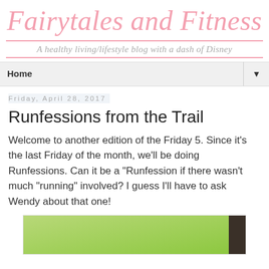Fairytales and Fitness — A healthy living/lifestyle blog with a dash of Disney
Home ▼
Friday, April 28, 2017
Runfessions from the Trail
Welcome to another edition of the Friday 5. Since it's the last Friday of the month, we'll be doing Runfessions. Can it be a "Runfession if there wasn't much "running" involved? I guess I'll have to ask Wendy about that one!
[Figure (photo): Outdoor photo showing green foliage and a dark post/structure, partially cropped at bottom of page]